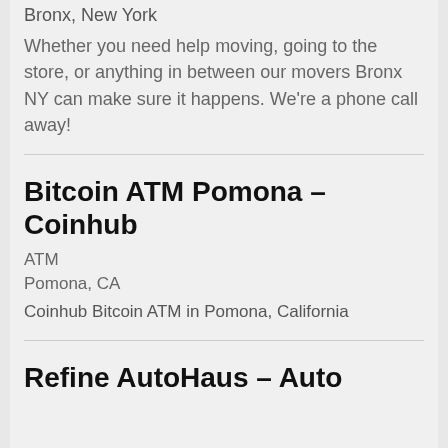Bronx, New York
Whether you need help moving, going to the store, or anything in between our movers Bronx NY can make sure it happens. We're a phone call away!
Bitcoin ATM Pomona – Coinhub
ATM
Pomona, CA
Coinhub Bitcoin ATM in Pomona, California
Refine AutoHaus – Auto